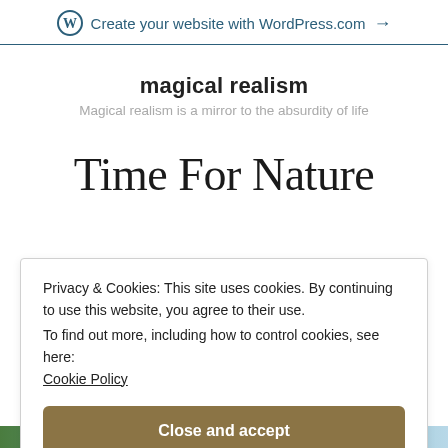Create your website with WordPress.com →
magical realism
Magical realism is a mirror to the absurdity of life
Time For Nature
Privacy & Cookies: This site uses cookies. By continuing to use this website, you agree to their use.
To find out more, including how to control cookies, see here:
Cookie Policy
Close and accept